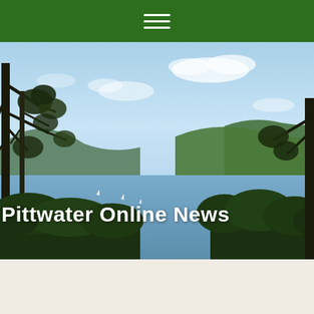[Figure (photo): Aerial/elevated scenic view of Pittwater estuary with trees in foreground, water with sailboats in middle ground, and forested hills in background under blue sky with clouds. White text overlay reads 'Pittwater Online News'.]
Pittwater Online News
June 13 - 19, 2021: Issue 498